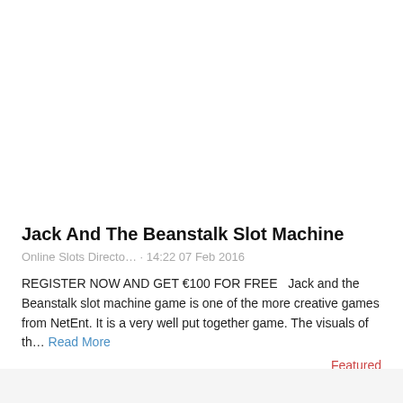Jack And The Beanstalk Slot Machine
Online Slots Directo… · 14:22 07 Feb 2016
REGISTER NOW AND GET €100 FOR FREE   Jack and the Beanstalk slot machine game is one of the more creative games from NetEnt. It is a very well put together game. The visuals of th… Read More
Featured